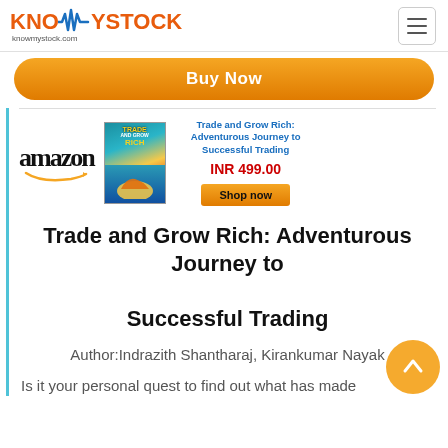[Figure (logo): KnowMyStock logo with EKG wave and text 'knowmystock.com']
Buy Now
[Figure (other): Amazon widget showing book 'Trade and Grow Rich: Adventurous Journey to Successful Trading' priced at INR 499.00 with a Shop now button]
Trade and Grow Rich: Adventurous Journey to Successful Trading
Author:Indrazith Shantharaj, Kirankumar Nayak
Is it your personal quest to find out what has made